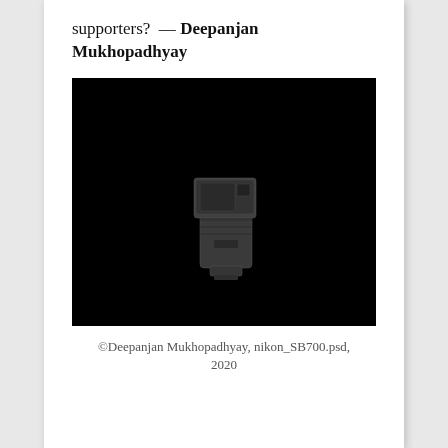supporters?  — Deepanjan Mukhopadhyay
[Figure (photo): A dark/black background image showing a Nikon SB700 camera flash unit illustrated in dark gray tones, centered in the image.]
©Deepanjan Mukhopadhyay, nikon_SB700.psd, 2020